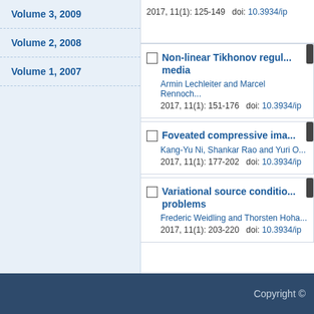Volume 3, 2009
Volume 2, 2008
Volume 1, 2007
2017, 11(1): 125-149  doi: 10.3934/ip
Non-linear Tikhonov regul... media
Armin Lechleiter and Marcel Rennoch...
2017, 11(1): 151-176  doi: 10.3934/ip
Foveated compressive ima...
Kang-Yu Ni, Shankar Rao and Yuri O...
2017, 11(1): 177-202  doi: 10.3934/ip
Variational source conditio... problems
Frederic Weidling and Thorsten Hoha...
2017, 11(1): 203-220  doi: 10.3934/ip
Copyright ©